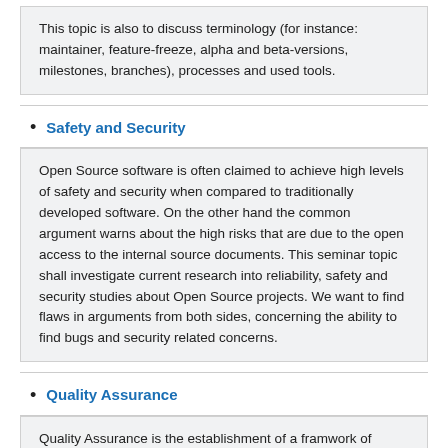This topic is also to discuss terminology (for instance: maintainer, feature-freeze, alpha and beta-versions, milestones, branches), processes and used tools.
Safety and Security
Open Source software is often claimed to achieve high levels of safety and security when compared to traditionally developed software. On the other hand the common argument warns about the high risks that are due to the open access to the internal source documents. This seminar topic shall investigate current research into reliability, safety and security studies about Open Source projects. We want to find flaws in arguments from both sides, concerning the ability to find bugs and security related concerns.
Quality Assurance
Quality Assurance is the establishment of a framwork of organisational procedures and standards that lead to high-quality software (Sommerville, 2004). In contrast to traditional software engineering, open source projects lack a lot of the required structure to perform these procedures and to adhere to